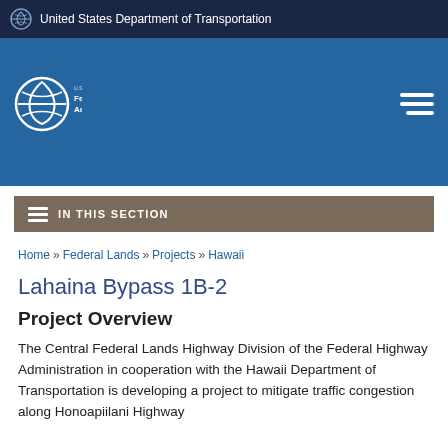United States Department of Transportation
[Figure (logo): Federal Highway Administration logo with text: U.S. Department of Transportation Federal Highway Administration]
IN THIS SECTION
Home » Federal Lands » Projects » Hawaii
Lahaina Bypass 1B-2
Project Overview
The Central Federal Lands Highway Division of the Federal Highway Administration in cooperation with the Hawaii Department of Transportation is developing a project to mitigate traffic congestion along Honoapiilani Highway